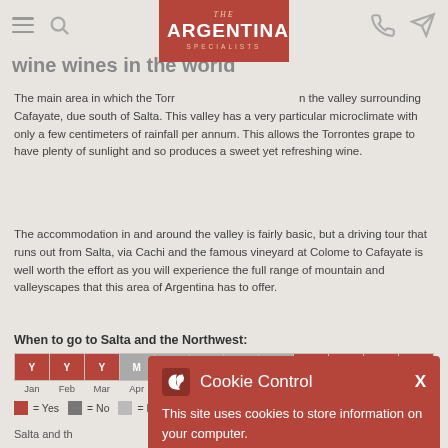THE ARGENTINA SPECIALISTS
wine wines in the world
The main area in which the Torrontes grape is grown is in the valley surrounding Cafayate, due south of Salta. This valley has a very particular microclimate with only a few centimeters of rainfall per annum. This allows the Torrontes grape to have plenty of sunlight and so produces a sweet yet refreshing wine.
The accommodation in and around the valley is fairly basic, but a driving tour that runs out from Salta, via Cachi and the famous vineyard at Colome to Cafayate is well worth the effort as you will experience the full range of mountain and valleyscapes that this area of Argentina has to offer.
When to go to Salta and the Northwest:
| Jan | Feb | Mar | Apr | May | Jun | Jul | Aug | Sep | Oct | Nov | Dec |
| --- | --- | --- | --- | --- | --- | --- | --- | --- | --- | --- | --- |
| Y | Y | Y | M | M | M | M | M | Y | Y | Y | Y |
= Yes  = No  = Maybe
[Figure (map): Map showing Salta and the Northwest region of Argentina]
Cookie Control
This site uses cookies to store information on your computer.
ABOUT THIS TOOL
READ MORE